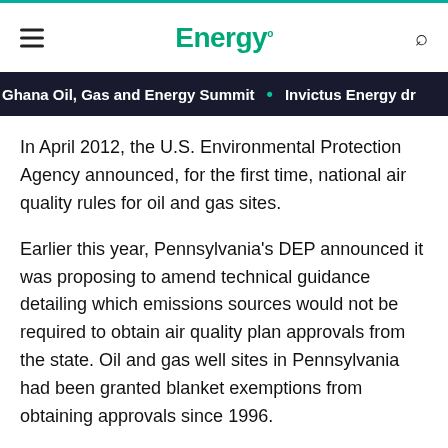Energy.
Ghana Oil, Gas and Energy Summit • Invictus Energy dr
In April 2012, the U.S. Environmental Protection Agency announced, for the first time, national air quality rules for oil and gas sites.
Earlier this year, Pennsylvania's DEP announced it was proposing to amend technical guidance detailing which emissions sources would not be required to obtain air quality plan approvals from the state. Oil and gas well sites in Pennsylvania had been granted blanket exemptions from obtaining approvals since 1996.
The final revised guidance affords each operator the choice between seeking an air quality plan approval from DEP, or demonstrating and implementing controls and practices more stringent than the federal